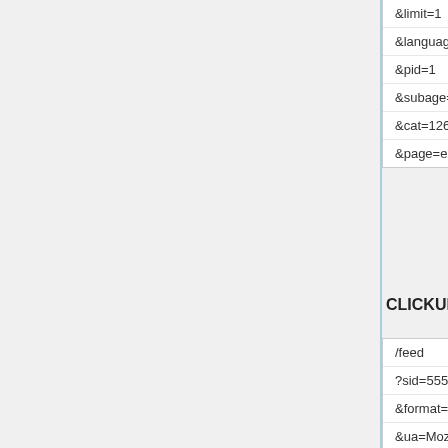&limit=1
&language=en
&pid=1
&subage=2
&cat=126
&page=example.com
CLICKUNDER
/feed
?sid=555
&format=cu
&ua=Mozilla%2F5.0+%28Linux%3B+Andro J600F%29+AppleWebKit%2F537.36+%28K
&ip=127.1.0.0
&uid=555555555
&limit=5